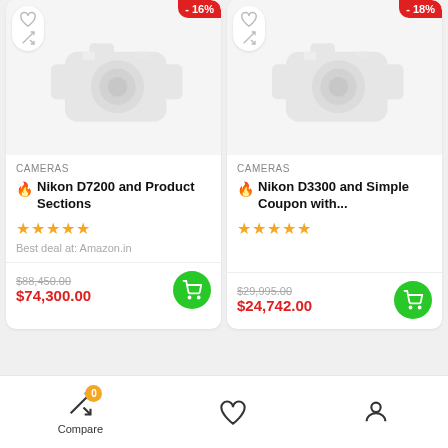[Figure (screenshot): Product card for Nikon D7200 camera with -16% discount badge, heart and compare icons, camera image, 5-star rating, best deal at Amazon.in, original price $88,450.00, sale price $74,300.00, and green cart button]
[Figure (screenshot): Product card for Nikon D3300 camera with -18% discount badge, heart and compare icons, camera image, 5-star rating, original price $29,995.00, sale price $24,742.00, and green cart button]
Compare
[Figure (infographic): Bottom navigation bar with Compare (with badge 0), heart/wishlist, and user/account icons]